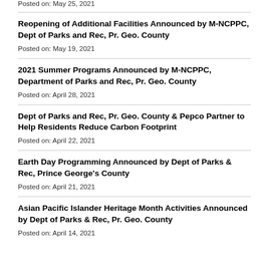Posted on: May 25, 2021
Reopening of Additional Facilities Announced by M-NCPPC, Dept of Parks and Rec, Pr. Geo. County
Posted on: May 19, 2021
2021 Summer Programs Announced by M-NCPPC, Department of Parks and Rec, Pr. Geo. County
Posted on: April 28, 2021
Dept of Parks and Rec, Pr. Geo. County & Pepco Partner to Help Residents Reduce Carbon Footprint
Posted on: April 22, 2021
Earth Day Programming Announced by Dept of Parks & Rec, Prince George's County
Posted on: April 21, 2021
Asian Pacific Islander Heritage Month Activities Announced by Dept of Parks & Rec, Pr. Geo. County
Posted on: April 14, 2021